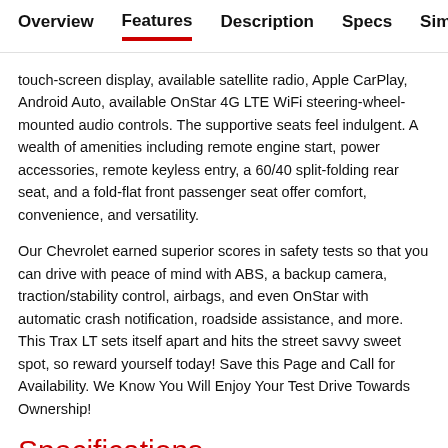Overview | Features | Description | Specs | Similar
touch-screen display, available satellite radio, Apple CarPlay, Android Auto, available OnStar 4G LTE WiFi steering-wheel-mounted audio controls. The supportive seats feel indulgent. A wealth of amenities including remote engine start, power accessories, remote keyless entry, a 60/40 split-folding rear seat, and a fold-flat front passenger seat offer comfort, convenience, and versatility.
Our Chevrolet earned superior scores in safety tests so that you can drive with peace of mind with ABS, a backup camera, traction/stability control, airbags, and even OnStar with automatic crash notification, roadside assistance, and more. This Trax LT sets itself apart and hits the street savvy sweet spot, so reward yourself today! Save this Page and Call for Availability. We Know You Will Enjoy Your Test Drive Towards Ownership!
Specifications